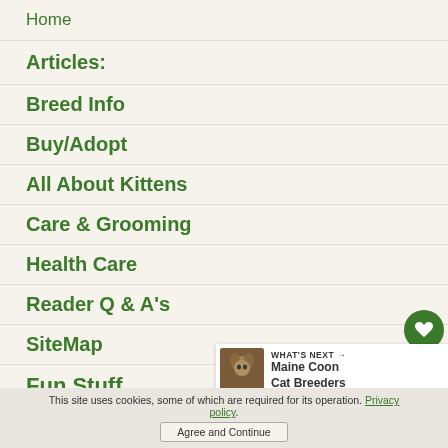Home
Articles:
Breed Info
Buy/Adopt
All About Kittens
Care & Grooming
Health Care
Reader Q & A's
SiteMap
Fun Stuff
This site uses cookies, some of which are required for its operation. Privacy policy. Agree and Continue